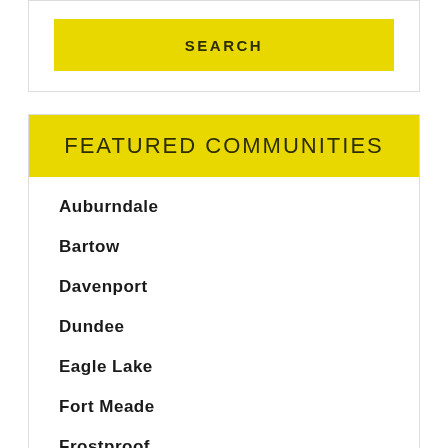[Figure (screenshot): Yellow SEARCH button inside a bordered box at the top of the page]
FEATURED COMMUNITIES
Auburndale
Bartow
Davenport
Dundee
Eagle Lake
Fort Meade
Frostproof